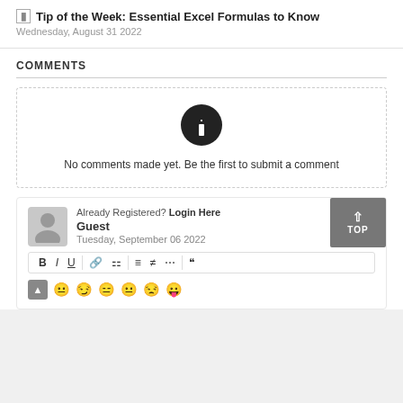Tip of the Week: Essential Excel Formulas to Know
Wednesday, August 31 2022
COMMENTS
No comments made yet. Be the first to submit a comment
Already Registered? Login Here
Guest
Tuesday, September 06 2022